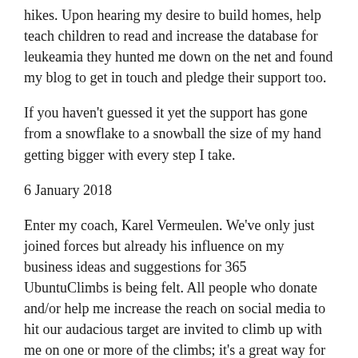hikes. Upon hearing my desire to build homes, help teach children to read and increase the database for leukeamia they hunted me down on the net and found my blog to get in touch and pledge their support too.
If you haven't guessed it yet the support has gone from a snowflake to a snowball the size of my hand getting bigger with every step I take.
6 January 2018
Enter my coach, Karel Vermeulen. We've only just joined forces but already his influence on my business ideas and suggestions for 365 UbuntuClimbs is being felt. All people who donate and/or help me increase the reach on social media to hit our audacious target are invited to climb up with me on one or more of the climbs; it's a great way for people to do good fit, on the right location. They'll…